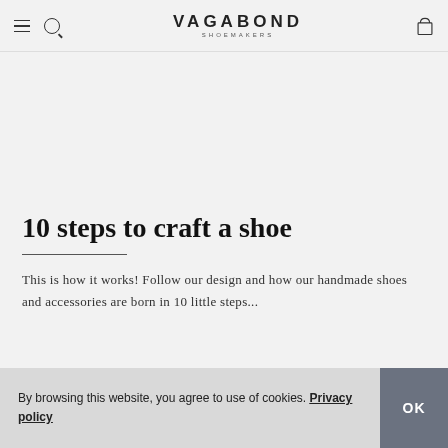VAGABOND SHOEMAKERS
10 steps to craft a shoe
This is how it works! Follow our design and how our handmade shoes and accessories are born in 10 little steps...
By browsing this website, you agree to use of cookies. Privacy policy